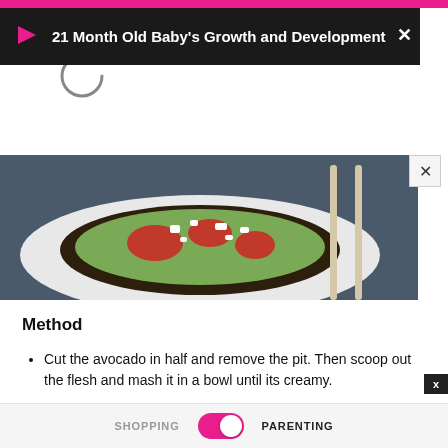[Figure (screenshot): Pink top navigation bar of a mobile app]
[Figure (screenshot): Black notification overlay with play icon, loading circle, and title '21 Month Old Baby's Growth and Development']
[Figure (photo): Photo of avocado toast on a white plate with tomatoes and white cheese crumbles, with cutlery visible, on a dark blue fabric background]
Method
Cut the avocado in half and remove the pit. Then scoop out the flesh and mash it in a bowl until its creamy.
Sprinkle some salt and pepper for taste.
SHOPPING  PARENTING